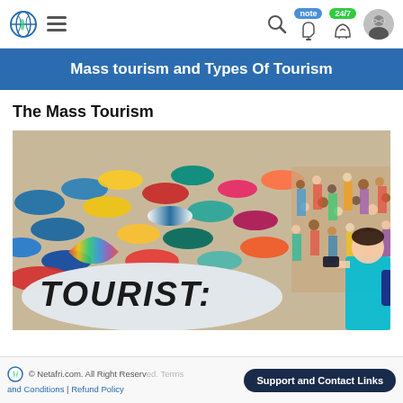Navigation bar with globe logo, hamburger menu, search, note badge, 24/7 badge, bell, chat, avatar
Mass tourism and Types Of Tourism
The Mass Tourism
[Figure (photo): Crowded beach packed with colorful umbrellas and tourists, with a large rock or sign in the foreground reading 'TOURIST:' in graffiti style lettering, and a person photographing the scene on the right.]
© Netafri.com. All Right Reserved. Terms and Conditions | Refund Policy | Support and Contact Links